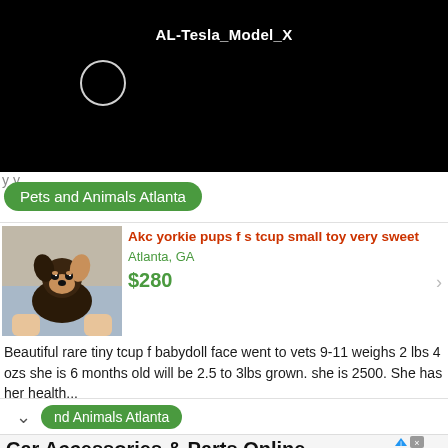[Figure (screenshot): Black video player header with white text 'AL-Tesla_Model_X' and a white circle spinner/loading indicator]
AL-Tesla_Model_X
Pets and Animals Atlanta
Akc yorkie pups f s tcup small toy very sweet
Atlanta, GA
$280
[Figure (photo): Small yorkie puppy being held in hands]
Beautiful rare tiny tcup f babydoll face went to vets 9-11 weighs 2 lbs 4 ozs she is 6 months old will be 2.5 to 3lbs grown. she is 2500. She has her health...
nd Animals Atlanta
Car Accessories & Parts Online
Looking for auto parts & accessories? Check out a great selection on Theautopartsshop.com The Auto Parts Shop
OPEN